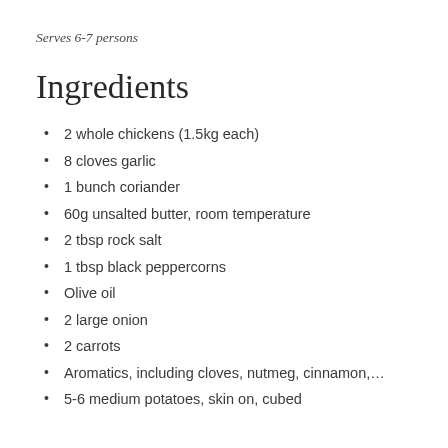Serves 6-7 persons
Ingredients
2 whole chickens (1.5kg each)
8 cloves garlic
1 bunch coriander
60g unsalted butter, room temperature
2 tbsp rock salt
1 tbsp black peppercorns
Olive oil
2 large onion
2 carrots
Aromatics, including cloves, nutmeg, cinnamon,…
5-6 medium potatoes, skin on, cubed